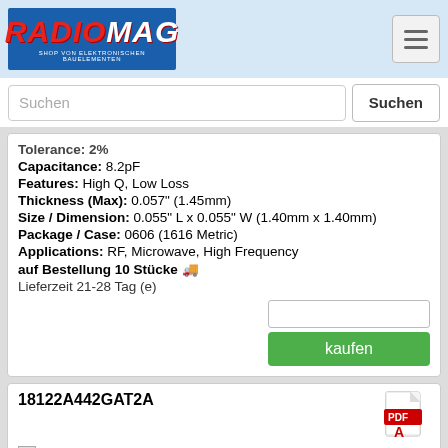RADIOMAG - SHOP VON ELEKTRONISCHEN BAUELEMENTEN
Tolerance: 2%
Capacitance: 8.2pF
Features: High Q, Low Loss
Thickness (Max): 0.057" (1.45mm)
Size / Dimension: 0.055" L x 0.055" W (1.40mm x 1.40mm)
Package / Case: 0606 (1616 Metric)
Applications: RF, Microwave, High Frequency
auf Bestellung 10 Stücke
Lieferzeit 21-28 Tag (e)
18122A442GAT2A
Hersteller: AVX Corporation
Description: CAP CER 4400PF 200V NP0 1812
Operating Temperature: -55°C ~ 125°C
Mounting Type: Surface Mount, MLCC
Temperature Coefficient: C0G, NP0
Voltage - Rated: 200V
Tolerance: ±2%